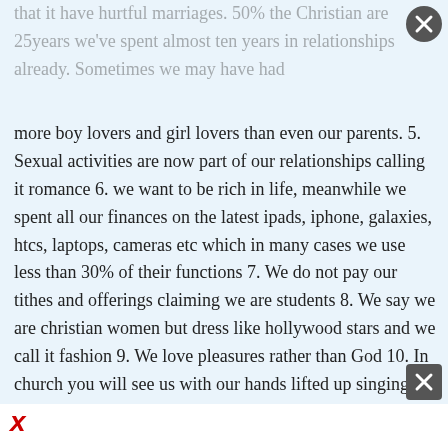that it have hurtful marriages. 50% the Christian are 25years we've spent almost ten years in relationships already. Sometimes we may have had more boy lovers and girl lovers than even our parents. 5. Sexual activities are now part of our relationships calling it romance 6. we want to be rich in life, meanwhile we spent all our finances on the latest ipads, iphone, galaxies, htcs, laptops, cameras etc which in many cases we use less than 30% of their functions 7. We do not pay our tithes and offerings claiming we are students 8. We say we are christian women but dress like hollywood stars and we call it fashion 9. We love pleasures rather than God 10. In church you will see us with our hands lifted up singing slow songs which we call worship but on our phones in our pockets, you will see pics of naked and half naked women, hip hop, hip life and we have a nice way of justifying it. 11. We are hardly